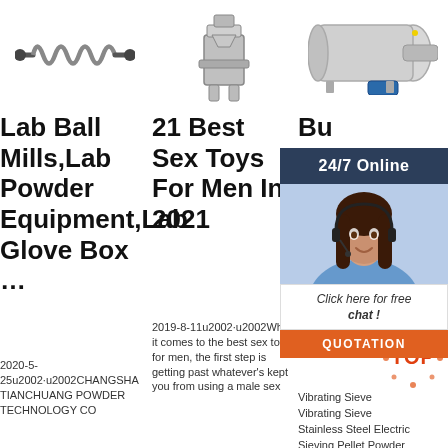[Figure (photo): Three product images in a row: left - a screw/spring mechanical component on white background; center - a stainless steel industrial grinding/milling machine; right - a horizontal industrial vibrating sieve/pellet machine in grey]
Lab Ball Mills,Lab Powder Equipment,Lab Glove Box …
21 Best Sex Toys For Men In 2021
Bu Fr Vi Si M Ali baba.com
2020-5-25u2002·u2002CHANGSHA TIANCHUANG POWDER TECHNOLOGY CO
2019-8-11u2002·u2002When it comes to the best sex toys for men, the first step is getting past whatever's kept you from using a male sex toy — because with
Vibrating Sieve Vibrating Sieve Stainless Steel Electric Sieving Pellet Powder Industrial Rotating
[Figure (infographic): 24/7 Online chat widget overlay with dark navy header '24/7 Online', a female customer service agent photo with headset, a speech bubble 'Click here for free chat!', and an orange QUOTATION button]
[Figure (logo): Red and orange 'TOP' badge/logo with decorative dots]